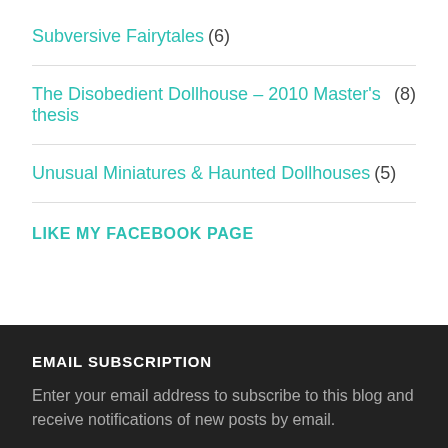Subversive Fairytales (6)
The Disobedient Dollhouse – 2010 Master's thesis (8)
Unusual Miniatures & Haunted Dollhouses (5)
LIKE MY FACEBOOK PAGE
EMAIL SUBSCRIPTION
Enter your email address to subscribe to this blog and receive notifications of new posts by email.